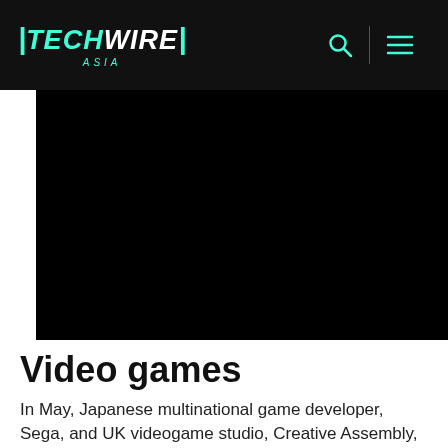TECHWIRE ASIA
[Figure (photo): Black rectangular hero image area, likely a video or dark photo related to video games]
Video games
In May, Japanese multinational game developer, Sega, and UK videogame studio, Creative Assembly,